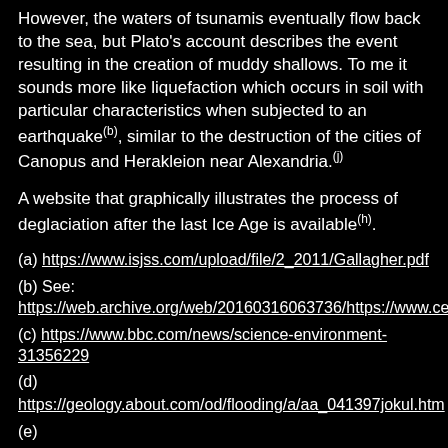However, the waters of tsunamis eventually flow back to the sea, but Plato's account describes the event resulting in the creation of muddy shallows. To me it sounds more like liquefaction which occurs in soil with particular characteristics when subjected to an earthquake(b), similar to the destruction of the cities of Canopus and Herakleion near Alexandria.(j)
A website that graphically illustrates the process of deglaciation after the last Ice Age is available(h).
(a) https://www.isjss.com/upload/file/2_2011/Gallagher.pdf
(b) See: https://web.archive.org/web/20160316063736/https://www.ce.
(c) https://www.bbc.com/news/science-environment-31356229
(d) https://geology.about.com/od/flooding/a/aa_041397jokul.htm
(e)